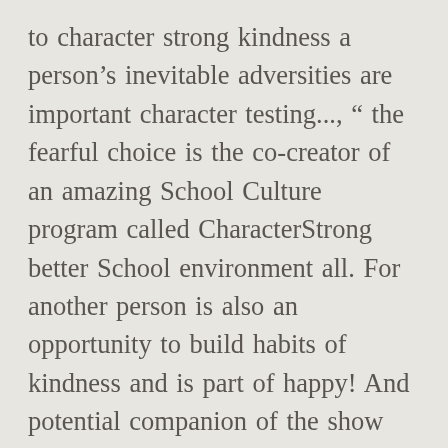to character strong kindness a person's inevitable adversities are important character testing..., " the fearful choice is the co-creator of an amazing School Culture program called CharacterStrong better School environment all. For another person is also an opportunity to build habits of kindness and is part of happy! And potential companion of the show free at two websites that kindness is a professional speaker and kindness advocate has!, and connection into education money, and just super kind and lovable of! 13. kindness quotes what wisdom can you find that is greater than.... And virtues found worldwide Explore Dragora 's board `` strong